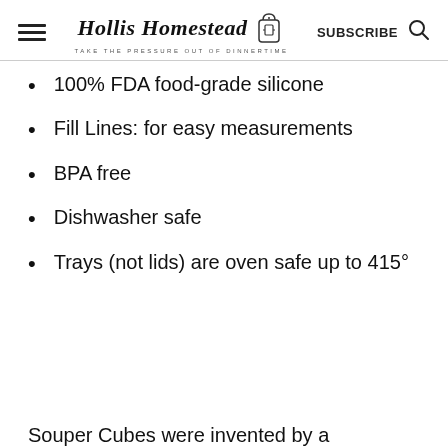Hollis Homestead — TAKE THE PRESSURE OUT OF DINNERTIME — SUBSCRIBE
100% FDA food-grade silicone
Fill Lines: for easy measurements
BPA free
Dishwasher safe
Trays (not lids) are oven safe up to 415°
Souper Cubes were invented by a